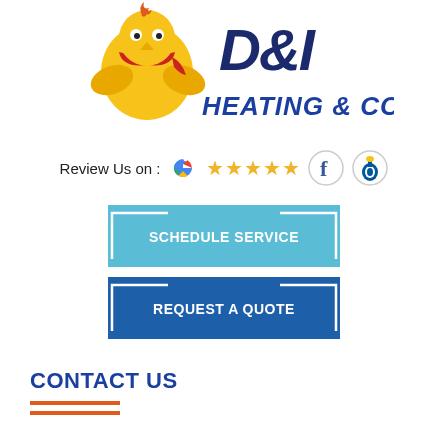[Figure (logo): D&I Heating & Cooling company logo with bird mascot wearing scarf and text HEATING & COOLING in blue italic bold]
[Figure (infographic): Review Us on: Google logo with 5 gold stars, Facebook circle icon, BBB circle icon]
[Figure (infographic): SCHEDULE SERVICE button in light blue with white corner bracket decorations]
[Figure (infographic): REQUEST A QUOTE button in dark blue with white corner bracket decorations]
CONTACT US